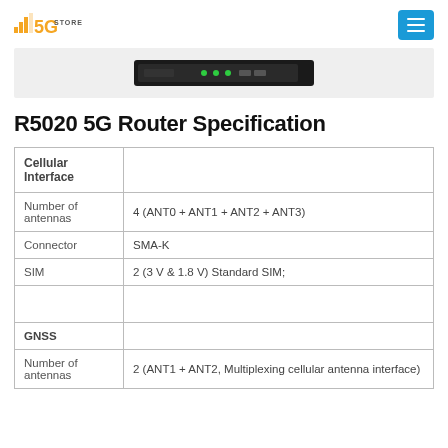5G Store
[Figure (photo): 5G router device image, a 1U rack-mounted unit with green LEDs visible]
R5020 5G Router Specification
| Cellular Interface |  |
| Number of antennas | 4 (ANT0 + ANT1 + ANT2 + ANT3) |
| Connector | SMA-K |
| SIM | 2 (3 V & 1.8 V) Standard SIM; |
|  |  |
| GNSS |  |
| Number of antennas | 2 (ANT1 + ANT2, Multiplexing cellular antenna interface) |